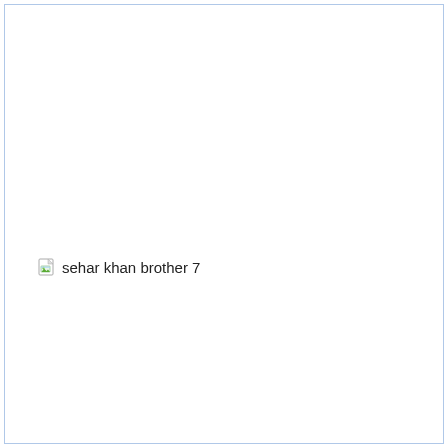[Figure (photo): Broken image placeholder with alt text 'sehar khan brother 7'. The image failed to load and shows a broken image icon (small document icon with green/blue colors) followed by the alt text.]